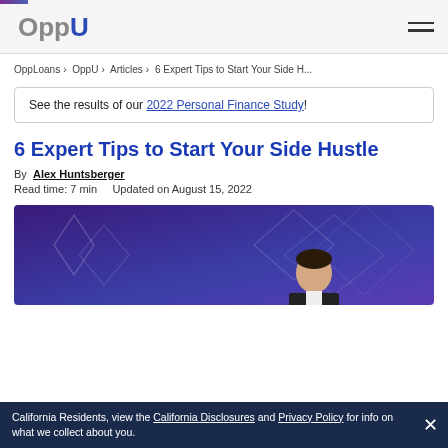OppU
OppLoans > OppU > Articles > 6 Expert Tips to Start Your Side H...
See the results of our 2022 Personal Finance Study!
6 Expert Tips to Start Your Side Hustle
By Alex Huntsberger
Read time: 7 min    Updated on August 15, 2022
[Figure (illustration): Hero image showing a man in a suit against a purple/blue geometric background with star/diamond shapes]
California Residents, view the California Disclosures and Privacy Policy for info on what we collect about you.